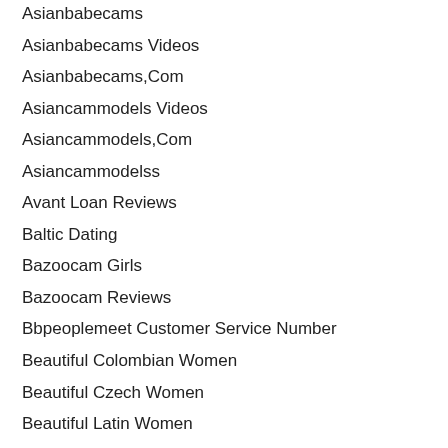Asianbabecams
Asianbabecams Videos
Asianbabecams,Com
Asiancammodels Videos
Asiancammodels,Com
Asiancammodelss
Avant Loan Reviews
Baltic Dating
Bazoocam Girls
Bazoocam Reviews
Bbpeoplemeet Customer Service Number
Beautiful Colombian Women
Beautiful Czech Women
Beautiful Latin Women